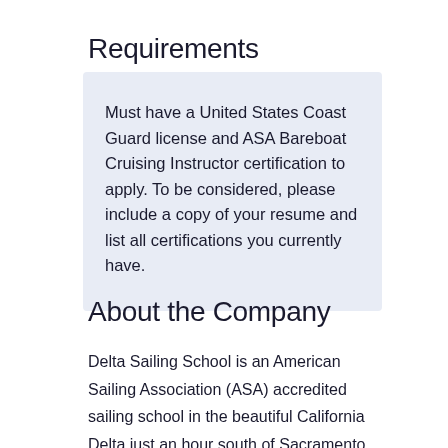Requirements
Must have a United States Coast Guard license and ASA Bareboat Cruising Instructor certification to apply. To be considered, please include a copy of your resume and list all certifications you currently have.
About the Company
Delta Sailing School is an American Sailing Association (ASA) accredited sailing school in the beautiful California Delta just an hour south of Sacramento and an hour east of Marin. We offer Basic Keelboat through